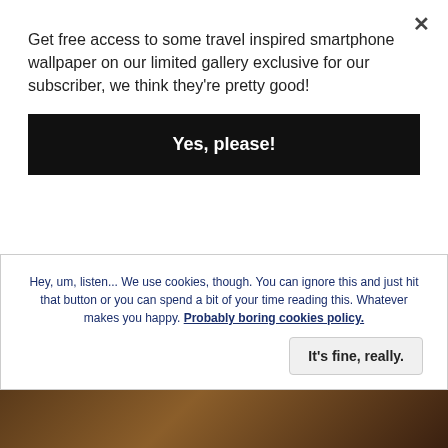Get free access to some travel inspired smartphone wallpaper on our limited gallery exclusive for our subscriber, we think they're pretty good!
Yes, please!
Chong Yin Cat take care of this temple and make this place even greater it became an international tourist spot.
As a greeting, you will see a 40 feet tall golden Buddha statue. We saw some people praying before
Hey, um, listen... We use cookies, though. You can ignore this and just hit that button or you can spend a bit of your time reading this. Whatever makes you happy. Probably boring cookies policy.
It's fine, really.
[Figure (photo): Bottom strip of a dark brown/amber colored image, likely a temple or Buddhist scene]